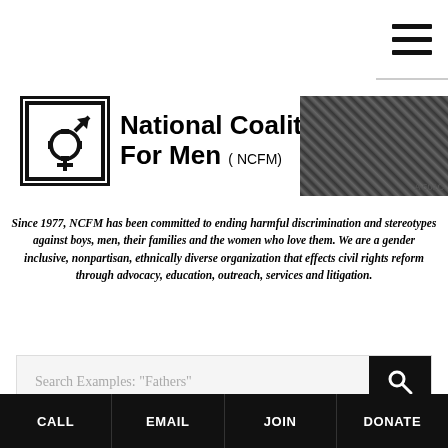[Figure (logo): National Coalition For Men (NCFM) logo with stylized gender symbol icon in a square border]
[Figure (photo): Black and white group photo of people]
A 501C
Since 1977, NCFM has been committed to ending harmful discrimination and stereotypes against boys, men, their families and the women who love them. We are a gender inclusive, nonpartisan, ethnically diverse organization that effects civil rights reform through advocacy, education, outreach, services and litigation.
Search Examples: "Fathers"
Australian cows more important to family law
CALL  EMAIL  JOIN  DONATE